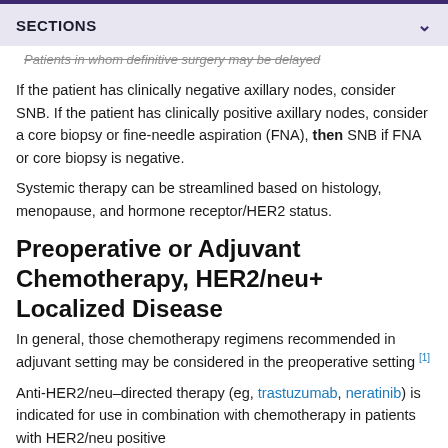SECTIONS
Patients in whom definitive surgery may be delayed
If the patient has clinically negative axillary nodes, consider SNB. If the patient has clinically positive axillary nodes, consider a core biopsy or fine-needle aspiration (FNA), then SNB if FNA or core biopsy is negative.
Systemic therapy can be streamlined based on histology, menopause, and hormone receptor/HER2 status.
Preoperative or Adjuvant Chemotherapy, HER2/neu+ Localized Disease
In general, those chemotherapy regimens recommended in adjuvant setting may be considered in the preoperative setting [1]
Anti-HER2/neu–directed therapy (eg, trastuzumab, neratinib) is indicated for use in combination with chemotherapy in patients with HER2/neu positive